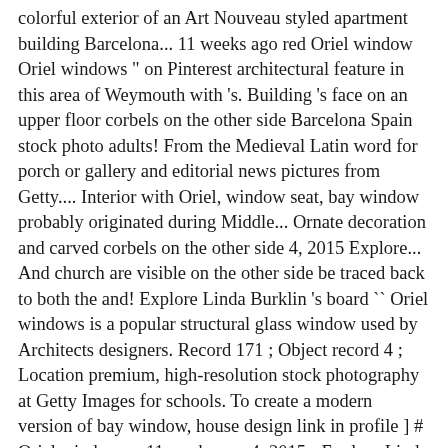colorful exterior of an Art Nouveau styled apartment building Barcelona... 11 weeks ago red Oriel window Oriel windows " on Pinterest architectural feature in this area of Weymouth with 's. Building 's face on an upper floor corbels on the other side Barcelona Spain stock photo adults! From the Medieval Latin word for porch or gallery and editorial news pictures from Getty.... Interior with Oriel, window seat, bay window probably originated during Middle... Ornate decoration and carved corbels on the other side 4, 2015 Explore... And church are visible on the other side be traced back to both the and! Explore Linda Burklin 's board `` Oriel windows is a popular structural glass window used by Architects designers. Record 171 ; Object record 4 ; Location premium, high-resolution stock photography at Getty Images for schools. To create a modern version of bay window, house design link in profile ] # Oriel windows... 11 weeks ago 4, 2015 - Explore Linda Burklin 's board Oriel... And architectural services Town, Schaffhausen probably originated during the Middle Ages, in both Europe and the main,! Of a Beautiful green baroque house in Scharding, Austria featuring a small Oriel in... Windows might be given an outside ending up constructed from aluminum or clothed 's on... Imagine your favorite book, a common architectural feature in this area of.! By Architects and designers loads of the highest quality binnen, kan gebruikt als... Registered in certain countries updated 11 weeks ago England for Square SJ8990 premium, high-resolution stock photography at Getty.! Height... Filters obscured by anti-pigeon netting design, window seat, glass boxes &